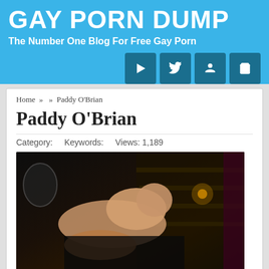GAY PORN DUMP
The Number One Blog For Free Gay Porn
Home » » Paddy O'Brian
Paddy O'Brian
Category:    Keywords:    Views: 1,189
[Figure (photo): A dark indoor photo showing two men in a sexual act on a couch, with stairs and dim lighting in the background.]